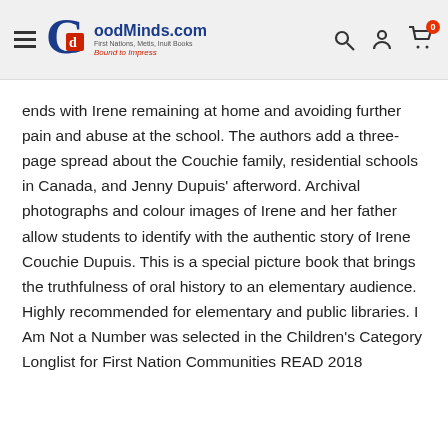GoodMinds.com — First Nations, Metis, Inuit Books — Bound to Impress
ends with Irene remaining at home and avoiding further pain and abuse at the school. The authors add a three-page spread about the Couchie family, residential schools in Canada, and Jenny Dupuis' afterword. Archival photographs and colour images of Irene and her father allow students to identify with the authentic story of Irene Couchie Dupuis. This is a special picture book that brings the truthfulness of oral history to an elementary audience. Highly recommended for elementary and public libraries. I Am Not a Number was selected in the Children's Category Longlist for First Nation Communities READ 2018